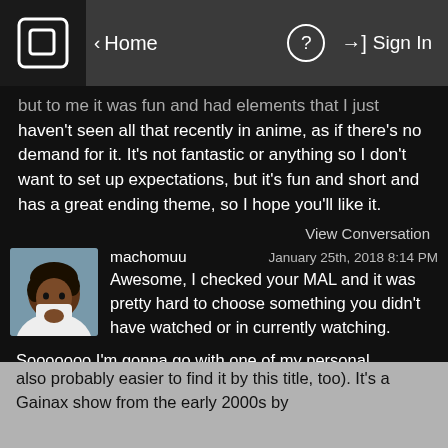Home    ?    Sign In
but to me it was fun and had elements that I just haven't seen all that recently in anime, as if there's no demand for it. It's not fantastic or anything so I don't want to set up expectations, but it's fun and short and has a great ending theme, so I hope you'll like it.
View Conversation
machomuu    January 25th, 2018 8:14 PM
Awesome, I checked your MAL and it was pretty hard to choose something you didn't have watched or in currently watching.

Sooooooo I'm gonna go with one of my personal favorites, Kareshi Kanojo no Jijou, or as I know it, Kare Kano: His and Her Circumstances (it's also probably easier to find it by this title, too). It's a Gainax show from the early 2000s by